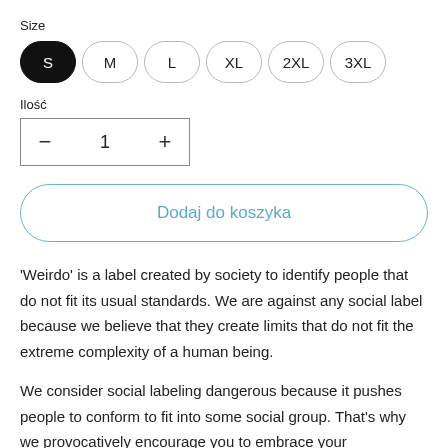Size
S  M  L  XL  2XL  3XL
Ilość
− 1 +
Dodaj do koszyka
'Weirdo' is a label created by society to identify people that do not fit its usual standards. We are against any social label because we believe that they create limits that do not fit the extreme complexity of a human being.
We consider social labeling dangerous because it pushes people to conform to fit into some social group. That's why we provocatively encourage you to embrace your